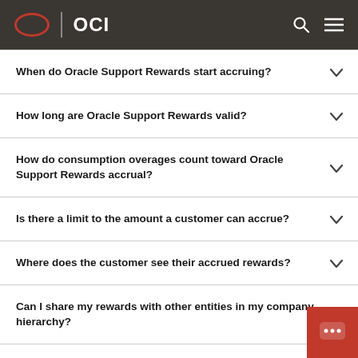OCI
When do Oracle Support Rewards start accruing?
How long are Oracle Support Rewards valid?
How do consumption overages count toward Oracle Support Rewards accrual?
Is there a limit to the amount a customer can accrue?
Where does the customer see their accrued rewards?
Can I share my rewards with other entities in my company hierarchy?
Can Oracle Support Rewards be used to pay the tax on a support invoice?
Can Oracle Support Rewards be redeemed for cash or